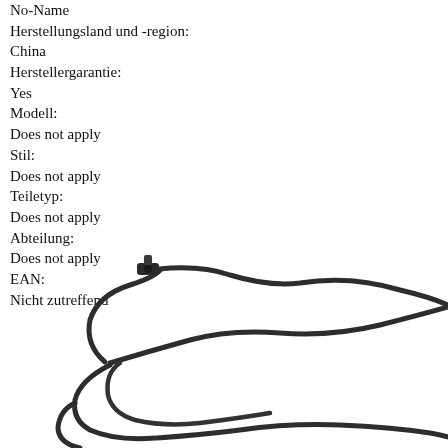No-Name
Herstellungsland und -region:
China
Herstellergarantie:
Yes
Modell:
Does not apply
Stil:
Does not apply
Teiletyp:
Does not apply
Abteilung:
Does not apply
EAN:
Nicht zutreffend
[Figure (photo): Photo of a coiled dark/black cable or wire with a connector at one end, on a white background.]